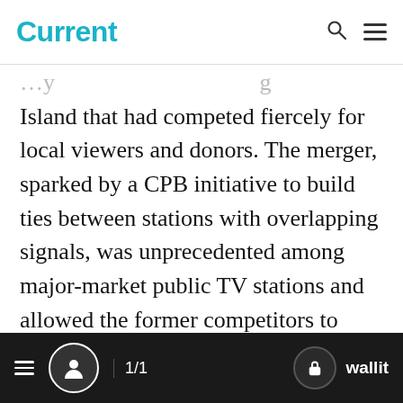Current
Island that had competed fiercely for local viewers and donors. The merger, sparked by a CPB initiative to build ties between stations with overlapping signals, was unprecedented among major-market public TV stations and allowed the former competitors to pool their resources as they built out digital broadcast facilities and services.

In 2005, WNET bid for the license of WXEL in W...
1/1  wallit